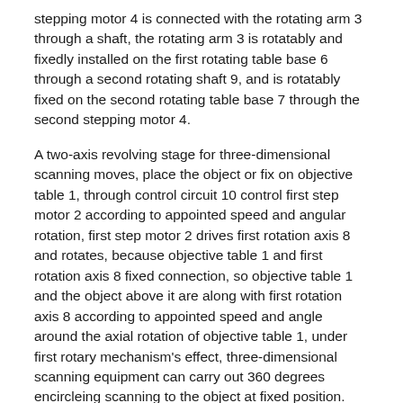stepping motor 4 is connected with the rotating arm 3 through a shaft, the rotating arm 3 is rotatably and fixedly installed on the first rotating table base 6 through a second rotating shaft 9, and is rotatably fixed on the second rotating table base 7 through the second stepping motor 4.
A two-axis revolving stage for three-dimensional scanning moves, place the object or fix on objective table 1, through control circuit 10 control first step motor 2 according to appointed speed and angular rotation, first step motor 2 drives first rotation axis 8 and rotates, because objective table 1 and first rotation axis 8 fixed connection, so objective table 1 and the object above it are along with first rotation axis 8 according to appointed speed and angle around the axial rotation of objective table 1, under first rotary mechanism's effect, three-dimensional scanning equipment can carry out 360 degrees encircleing scanning to the object at fixed position. Meanwhile, the control circuit 10 controls the second stepping motor 4 to rotate according to the designated speed and angle, the rotating arm 3 is driven by the second stepping motor 4 to rotate around the connecting line of the second rotating shaft 9 and the second stepping motor 4 according to the